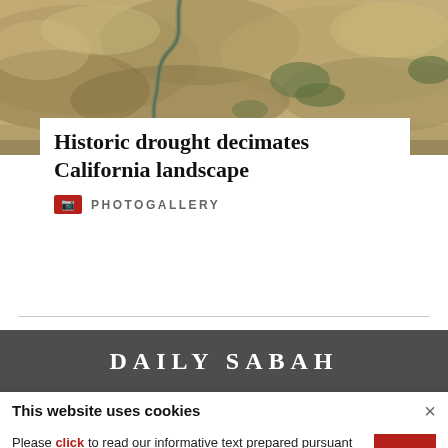[Figure (photo): Aerial view of a drought-stricken California landscape showing cracked dry earth and a narrow stream/river winding through barren, eroded terrain with pale sandy tones and sparse green vegetation.]
Historic drought decimates California landscape
PHOTOGALLERY
DAILY SABAH
This website uses cookies
Please click to read our informative text prepared pursuant to the Law on the Protection of Personal Data No. 6698 and to get information about the cookies used on our